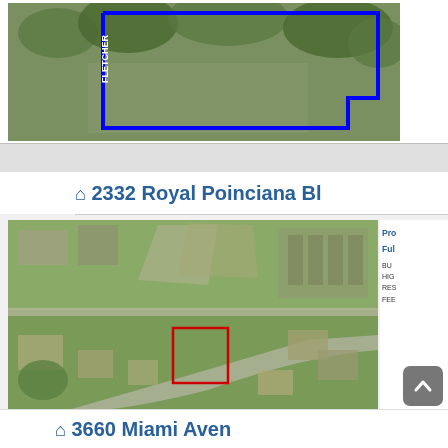[Figure (photo): Aerial satellite view of a property with blue boundary outline and FLETCHER street label visible]
🏠 2332 Royal Poinciana Bl
[Figure (photo): Aerial satellite map showing a residential neighborhood with a red boundary outline marking a specific parcel]
Pro
Ful
BU
HIG
RES
FEE
🏠 3660 Miami Aven